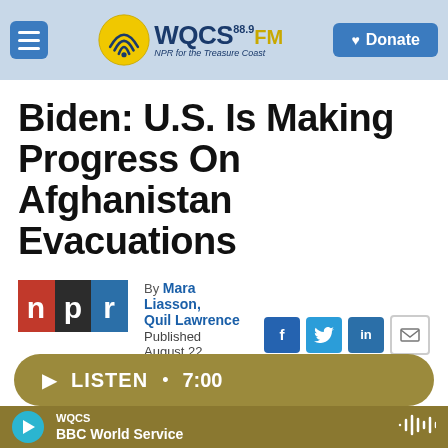WQCS 88.9 FM — NPR for the Treasure Coast | Donate
Biden: U.S. Is Making Progress On Afghanistan Evacuations
[Figure (logo): NPR logo — red, black, and blue horizontal bar with white letters n p r]
By Mara Liasson, Quil Lawrence
Published August 22, 2021 at 5:13 PM EDT
LISTEN • 7:00
WQCS
BBC World Service